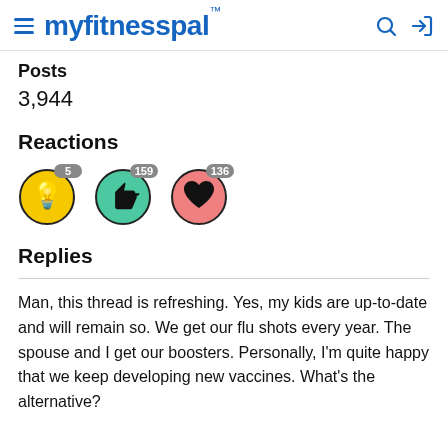myfitnesspal
Posts
3,944
Reactions
[Figure (infographic): Three reaction icons: lightbulb (yellow circle) with badge 5, thumbs-up (teal/green circle) with badge 159, heart (pink circle) with badge 136]
Replies
Man, this thread is refreshing. Yes, my kids are up-to-date and will remain so. We get our flu shots every year. The spouse and I get our boosters. Personally, I'm quite happy that we keep developing new vaccines. What's the alternative?